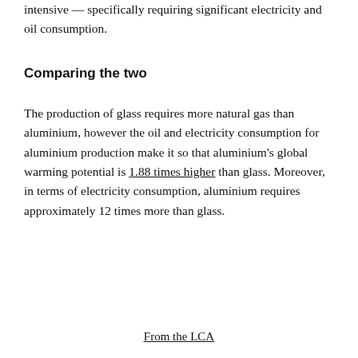intensive — specifically requiring significant electricity and oil consumption.
Comparing the two
The production of glass requires more natural gas than aluminium, however the oil and electricity consumption for aluminium production make it so that aluminium's global warming potential is 1.88 times higher than glass. Moreover, in terms of electricity consumption, aluminium requires approximately 12 times more than glass.
From the LCA